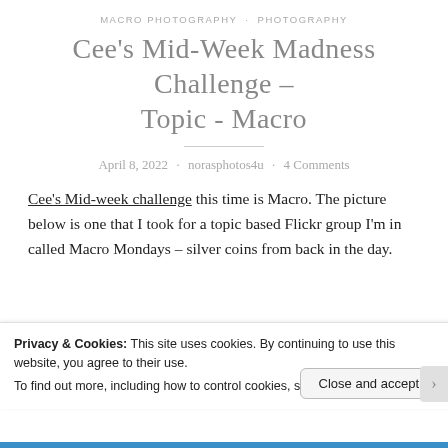MACRO PHOTOGRAPHY · PHOTOGRAPHY
Cee's Mid-Week Madness Challenge – Topic - Macro
April 8, 2022 · norasphotos4u · 4 Comments
Cee's Mid-week challenge this time is Macro. The picture below is one that I took for a topic based Flickr group I'm in called Macro Mondays – silver coins from back in the day.
[Figure (photo): Partial view of macro photograph showing silver coins with engraved designs, in black and white]
Privacy & Cookies: This site uses cookies. By continuing to use this website, you agree to their use.
To find out more, including how to control cookies, see here: Cookie Policy